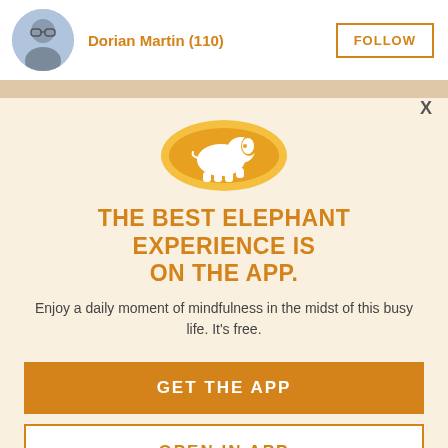Dorian Martin (110)  FOLLOW
[Figure (illustration): Orange circle with white elephant silhouette icon representing the Elephant app logo]
THE BEST ELEPHANT EXPERIENCE IS ON THE APP.
Enjoy a daily moment of mindfulness in the midst of this busy life. It's free.
GET THE APP
OPEN IN APP